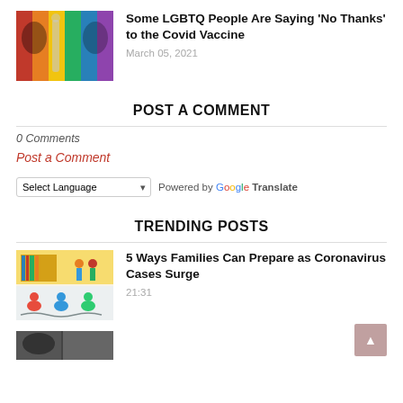[Figure (photo): Colorful photo with LGBTQ rainbow colors and a syringe, showing people's faces with red, orange, yellow, green, blue colors]
Some LGBTQ People Are Saying 'No Thanks' to the Covid Vaccine
March 05, 2021
POST A COMMENT
0 Comments
Post a Comment
Select Language  Powered by Google Translate
TRENDING POSTS
[Figure (illustration): Colorful illustration of families at home, showing people in various domestic scenes with yellow background]
5 Ways Families Can Prepare as Coronavirus Cases Surge
21:31
[Figure (photo): Partial photo visible at bottom of page]